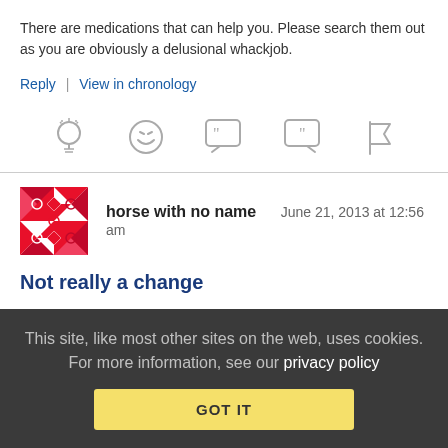There are medications that can help you. Please search them out as you are obviously a delusional whackjob.
Reply | View in chronology
[Figure (illustration): Row of five social action icons: lightbulb, laughing emoji, open-quote speech bubble, close-quote speech bubble, and flag]
[Figure (illustration): User avatar: red and white geometric/quilted pattern square]
horse with no name   June 21, 2013 at 12:56 am
Not really a change
I think that changing the wording likely won't change much,
This site, like most other sites on the web, uses cookies. For more information, see our privacy policy
GOT IT